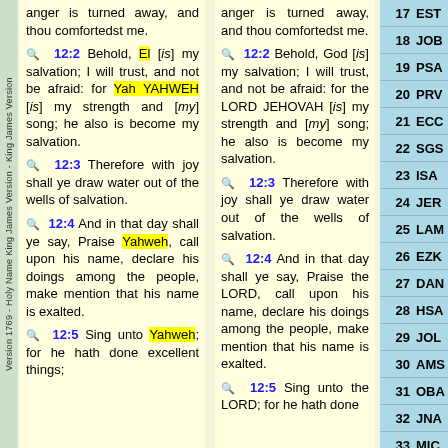anger is turned away, and thou comfortedst me.
12:2 Behold, El [is] my salvation; I will trust, and not be afraid: for Yah YAHWEH [is] my strength and [my] song; he also is become my salvation.
12:3 Therefore with joy shall ye draw water out of the wells of salvation.
12:4 And in that day shall ye say, Praise Yahweh, call upon his name, declare his doings among the people, make mention that his name is exalted.
12:5 Sing unto Yahweh; for he hath done excellent things;
anger is turned away, and thou comfortedst me.
12:2 Behold, God [is] my salvation; I will trust, and not be afraid: for the LORD JEHOVAH [is] my strength and [my] song; he also is become my salvation.
12:3 Therefore with joy shall ye draw water out of the wells of salvation.
12:4 And in that day shall ye say, Praise the LORD, call upon his name, declare his doings among the people, make mention that his name is exalted.
12:5 Sing unto the LORD; for he hath done
17 EST
18 JOB
19 PSA
20 PRV
21 ECC
22 SGS
23 ISA
24 JER
25 LAM
26 EZK
27 DAN
28 HSA
29 JOL
30 AMS
31 OBA
32 JNA
33 MIC
34 NAH
35 HAB
36 ZPH
37 HGG
38 ZCH
39 MAL
40 MTT
41 MRK